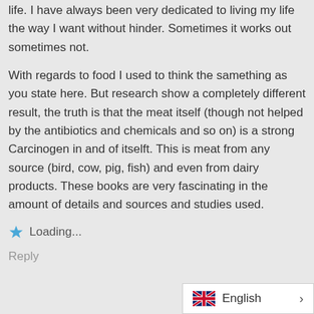life. I have always been very dedicated to living my life the way I want without hinder. Sometimes it works out sometimes not.
With regards to food I used to think the samething as you state here. But research show a completely different result, the truth is that the meat itself (though not helped by the antibiotics and chemicals and so on) is a strong Carcinogen in and of itselft. This is meat from any source (bird, cow, pig, fish) and even from dairy products. These books are very fascinating in the amount of details and sources and studies used.
Loading...
Reply
English